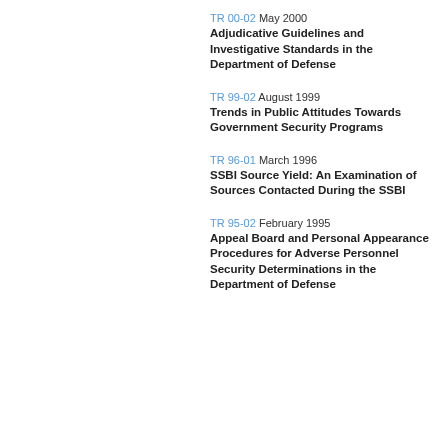TR 00-02 May 2000
Adjudicative Guidelines and Investigative Standards in the Department of Defense
TR 99-02 August 1999
Trends in Public Attitudes Towards Government Security Programs
TR 96-01 March 1996
SSBI Source Yield: An Examination of Sources Contacted During the SSBI
TR 95-02 February 1995
Appeal Board and Personal Appearance Procedures for Adverse Personnel Security Determinations in the Department of Defense